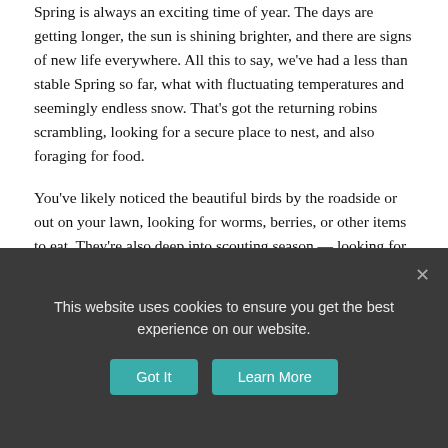Spring is always an exciting time of year. The days are getting longer, the sun is shining brighter, and there are signs of new life everywhere. All this to say, we've had a less than stable Spring so far, what with fluctuating temperatures and seemingly endless snow. That's got the returning robins scrambling, looking for a secure place to nest, and also foraging for food.
You've likely noticed the beautiful birds by the roadside or out on your lawn, looking for worms, berries, or other items to eat. They're also deep into scouting season — looking for the best place to settle down, lay their eggs, and raise their young (for a full 13 days).
Being the compassionate person that I am, — save all the animals — We agreed to build me a robin's nesting shelf (or...
This website uses cookies to ensure you get the best experience on our website.